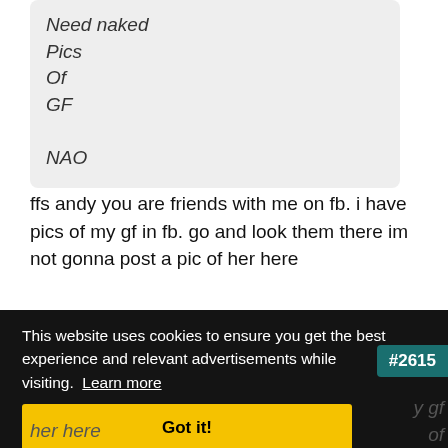Need naked Pics Of GF

NAO
ffs andy you are friends with me on fb. i have pics of my gf in fb. go and look them there im not gonna post a pic of her here
This website uses cookies to ensure you get the best experience and relevant advertisements while visiting. Learn more
Got it!
#2615
y gf of
her here